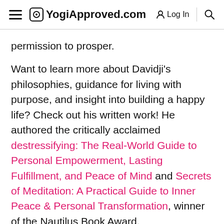YogiApproved.com | Log In | Search
permission to prosper.
Want to learn more about Davidji's philosophies, guidance for living with purpose, and insight into building a happy life? Check out his written work! He authored the critically acclaimed destressifying: The Real-World Guide to Personal Empowerment, Lasting Fulfillment, and Peace of Mind and Secrets of Meditation: A Practical Guide to Inner Peace & Personal Transformation, winner of the Nautilus Book Award.